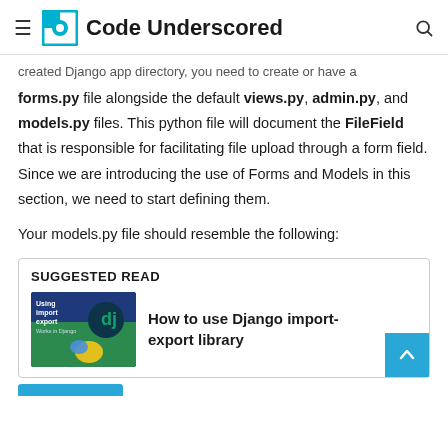Code Underscored
created Django app directory, you need to create or have a forms.py file alongside the default views.py, admin.py, and models.py files. This python file will document the FileField that is responsible for facilitating file upload through a form field. Since we are introducing the use of Forms and Models in this section, we need to start defining them.
Your models.py file should resemble the following:
SUGGESTED READ
[Figure (illustration): Thumbnail image for Django import-export library article showing 'Using import export Works in Django' text with Python and Django logos]
How to use Django import-export library